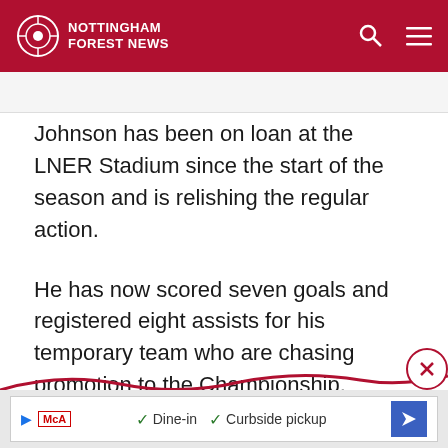NOTTINGHAM FOREST NEWS
Johnson has been on loan at the LNER Stadium since the start of the season and is relishing the regular action.
He has now scored seven goals and registered eight assists for his temporary team who are chasing promotion to the Championship.
Johnson looks set for stardom.
[Figure (other): Decorative red wave swoosh divider with a close (X) button circle on the right]
[Figure (other): Advertisement banner showing McAs logo, Dine-in checkmark, Curbside pickup checkmark, and a blue navigation arrow icon]